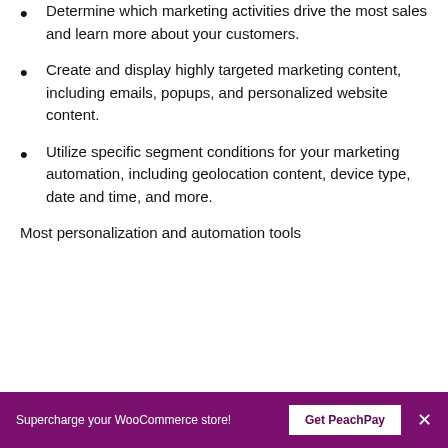Determine which marketing activities drive the most sales and learn more about your customers.
Create and display highly targeted marketing content, including emails, popups, and personalized website content.
Utilize specific segment conditions for your marketing automation, including geolocation content, device type, date and time, and more.
Most personalization and automation tools
Supercharge your WooCommerce store! | Get PeachPay | ×